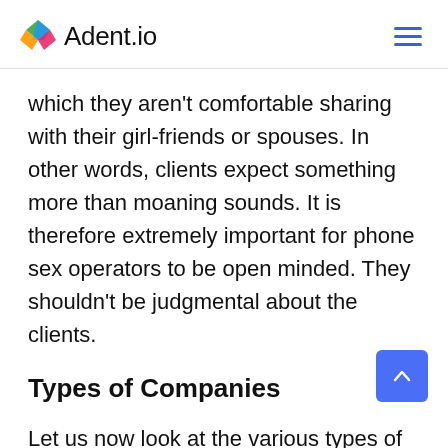Adent.io
which they aren't comfortable sharing with their girl-friends or spouses. In other words, clients expect something more than moaning sounds. It is therefore extremely important for phone sex operators to be open minded. They shouldn't be judgmental about the clients.
Types of Companies
Let us now look at the various types of companies that phone sex operators